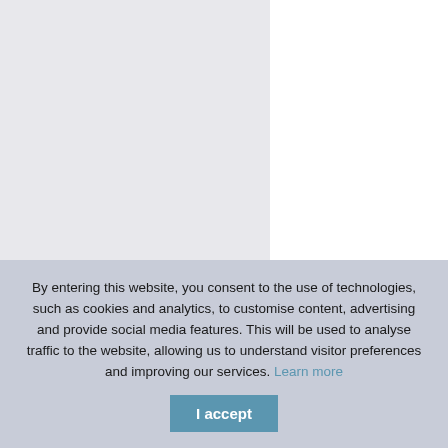|  | Author / Title | Ye... |
| --- | --- | --- |
| ☐ | Agreement between the United States of America and Germany concerning prisoners of war, sanitary personnel and civil prisoners, signed at Berne November 11th, 1918 = Vereinbarung zwischen den Vereinigten Staaten | 19... |
By entering this website, you consent to the use of technologies, such as cookies and analytics, to customise content, advertising and provide social media features. This will be used to analyse traffic to the website, allowing us to understand visitor preferences and improving our services. Learn more